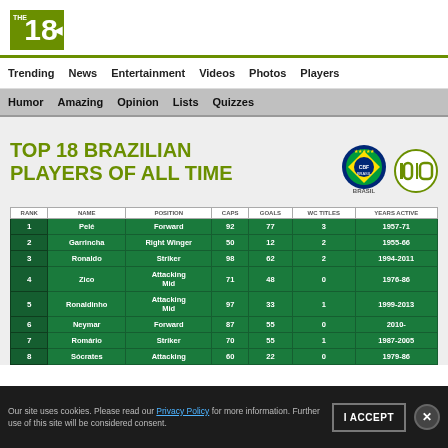THE 18
Trending | News | Entertainment | Videos | Photos | Players
Humor | Amazing | Opinion | Lists | Quizzes
TOP 18 BRAZILIAN PLAYERS OF ALL TIME
| RANK | NAME | POSITION | CAPS | GOALS | WC TITLES | YEARS ACTIVE |
| --- | --- | --- | --- | --- | --- | --- |
| 1 | Pelé | Forward | 92 | 77 | 3 | 1957-71 |
| 2 | Garrincha | Right Winger | 50 | 12 | 2 | 1955-66 |
| 3 | Ronaldo | Striker | 98 | 62 | 2 | 1994-2011 |
| 4 | Zico | Attacking Mid | 71 | 48 | 0 | 1976-86 |
| 5 | Ronaldinho | Attacking Mid | 97 | 33 | 1 | 1999-2013 |
| 6 | Neymar | Forward | 87 | 55 | 0 | 2010- |
| 7 | Romário | Striker | 70 | 55 | 1 | 1987-2005 |
| 8 | Sócrates | Attacking | 60 | 22 | 0 | 1979-86 |
Our site uses cookies. Please read our Privacy Policy for more information. Further use of this site will be considered consent.